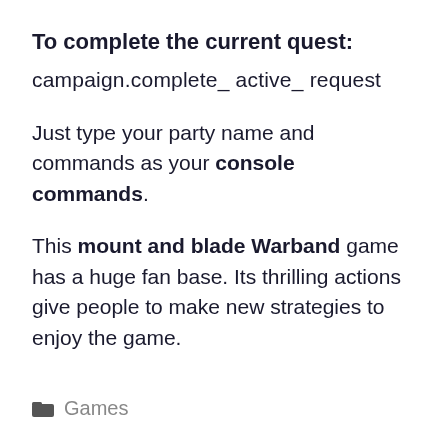To complete the current quest:
campaign.complete_ active_ request
Just type your party name and commands as your console commands.
This mount and blade Warband game has a huge fan base. Its thrilling actions give people to make new strategies to enjoy the game.
Games